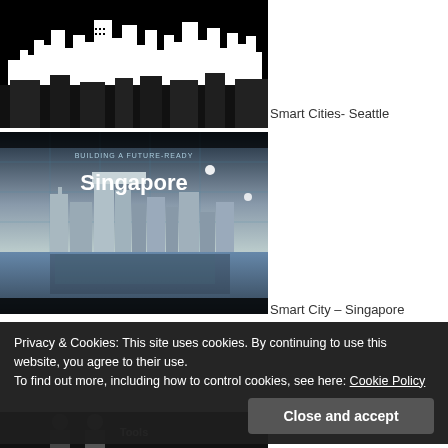[Figure (photo): Black and white stylized illustration of a city skyline (Seattle) with skyscrapers on a black background]
Smart Cities- Seattle
[Figure (photo): Singapore skyline photo with text overlay reading 'Building a Future-Ready Singapore' over a waterfront cityscape]
Smart City – Singapore
Privacy & Cookies: This site uses cookies. By continuing to use this website, you agree to their use.
To find out more, including how to control cookies, see here: Cookie Policy
[Figure (photo): Partial bottom photo strip showing people, partially cut off]